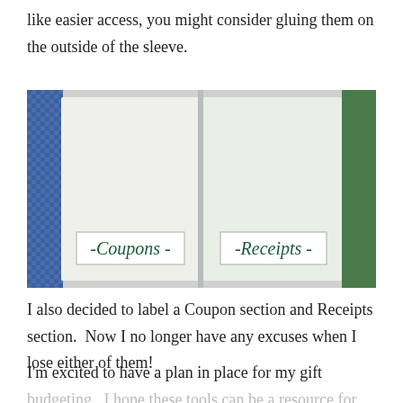like easier access, you might consider gluing them on the outside of the sleeve.
[Figure (photo): Open binder with two plastic sleeves labeled 'Coupons' and 'Receipts' in handwritten text on white labels. Left sleeve has a blue-patterned border, right sleeve has a green border.]
I also decided to label a Coupon section and Receipts section.  Now I no longer have any excuses when I lose either of them!
I'm excited to have a plan in place for my gift budgeting.  I hope these tools can be a resource for you as well.